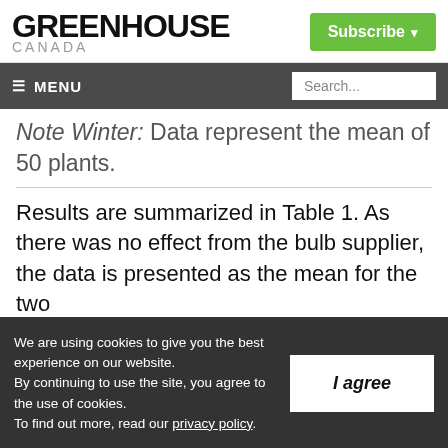GREENHOUSE CANADA
Note Winter: Data represent the mean of 50 plants.
Results are summarized in Table 1. As there was no effect from the bulb supplier, the data is presented as the mean for the two
We are using cookies to give you the best experience on our website. By continuing to use the site, you agree to the use of cookies. To find out more, read our privacy policy.